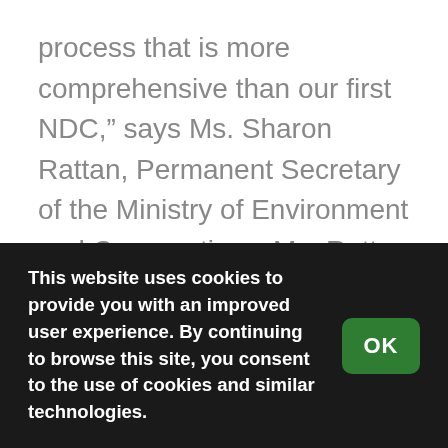process that is more comprehensive than our first NDC,” says Ms. Sharon Rattan, Permanent Secretary of the Ministry of Environment and Cooperatives. Ms. Rattan stated, “throughout the NDC update process, engagement with technical officers across government agencies as well as the private sector validated the progress, ensuring that the mitigation and adaptation targets were informed by and aligned with national
This website uses cookies to provide you with an improved user experience. By continuing to browse this site, you consent to the use of cookies and similar technologies.